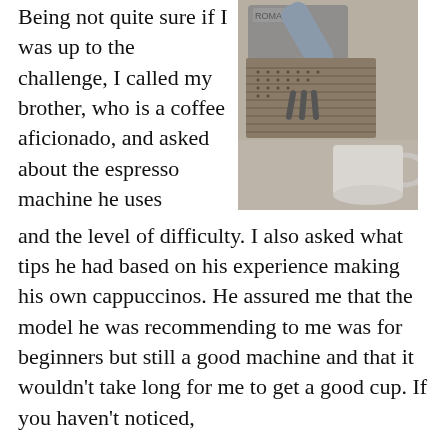Being not quite sure if I was up to the challenge, I called my brother, who is a coffee aficionado, and asked about the espresso machine he uses and the level of difficulty. I also asked what tips he had based on his experience making his own cappuccinos. He assured me that the model he was recommending to me was for beginners but still a good machine and that it wouldn't take long for me to get a good cup. If you haven't noticed,
[Figure (photo): Overhead view of an espresso machine with a metal drip tray, steam wand, and a white ceramic mug placed beside it on a textured surface.]